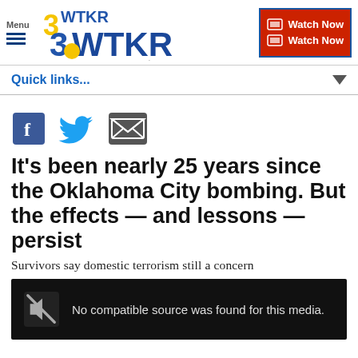3WTKR - Hampton Roads | Northeast NC - Menu | Watch Now
Quick links...
[Figure (other): Social share icons: Facebook, Twitter, Email]
It's been nearly 25 years since the Oklahoma City bombing. But the effects — and lessons — persist
Survivors say domestic terrorism still a concern
[Figure (other): Video player placeholder showing: No compatible source was found for this media.]